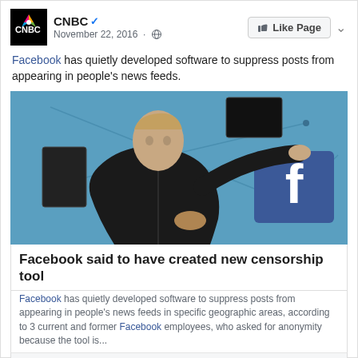CNBC · November 22, 2016
Facebook has quietly developed software to suppress posts from appearing in people's news feeds.
[Figure (photo): Photo of Mark Zuckerberg presenting on stage in front of a blue background with Facebook logo and connected network graphics]
Facebook said to have created new censorship tool
Facebook has quietly developed software to suppress posts from appearing in people's news feeds in specific geographic areas, according to 3 current and former Facebook employees, who asked for anonymity because the tool is...
CNBC.COM | BY CNBC
253   48 Comments · 77 Shares